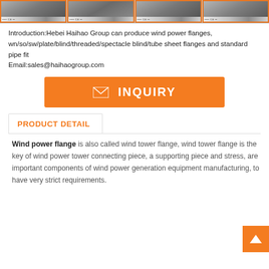[Figure (photo): Four product thumbnail images of flanges shown in a horizontal strip at the top of the page, each with certification icons at the bottom.]
Introduction:Hebei Haihao Group can produce wind power flanges, wn/so/sw/plate/blind/threaded/spectacle blind/tube sheet flanges and standard pipe fit
Email:sales@haihaogroup.com
[Figure (other): Orange inquiry button with envelope icon and text 'INQUIRY']
PRODUCT DETAIL
Wind power flange is also called wind tower flange, wind tower flange is the key of wind power tower connecting piece, a supporting piece and stress, are important components of wind power generation equipment manufacturing, to have very strict requirements.